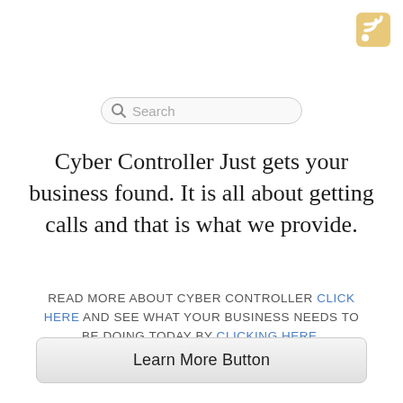[Figure (logo): RSS feed icon — orange/tan square with white WiFi-style signal arcs in top-right corner of page]
[Figure (screenshot): Search bar with magnifying glass icon and 'Search' placeholder text]
Cyber Controller Just gets your business found. It is all about getting calls and that is what we provide.
READ MORE ABOUT CYBER CONTROLLER CLICK HERE AND SEE WHAT YOUR BUSINESS NEEDS TO BE DOING TODAY BY CLICKING HERE.
Learn More Button